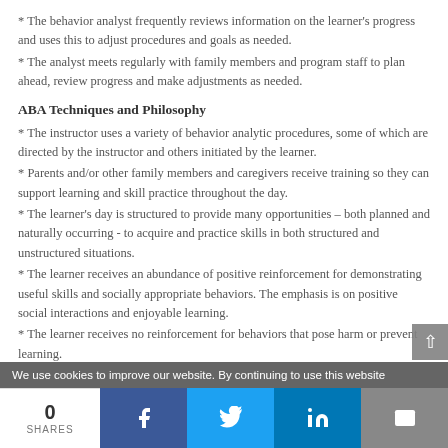* The behavior analyst frequently reviews information on the learner's progress and uses this to adjust procedures and goals as needed.
* The analyst meets regularly with family members and program staff to plan ahead, review progress and make adjustments as needed.
ABA Techniques and Philosophy
* The instructor uses a variety of behavior analytic procedures, some of which are directed by the instructor and others initiated by the learner.
* Parents and/or other family members and caregivers receive training so they can support learning and skill practice throughout the day.
* The learner's day is structured to provide many opportunities – both planned and naturally occurring - to acquire and practice skills in both structured and unstructured situations.
* The learner receives an abundance of positive reinforcement for demonstrating useful skills and socially appropriate behaviors. The emphasis is on positive social interactions and enjoyable learning.
* The learner receives no reinforcement for behaviors that pose harm or prevent learning.
We use cookies to improve our website. By continuing to use this website
0 SHARES